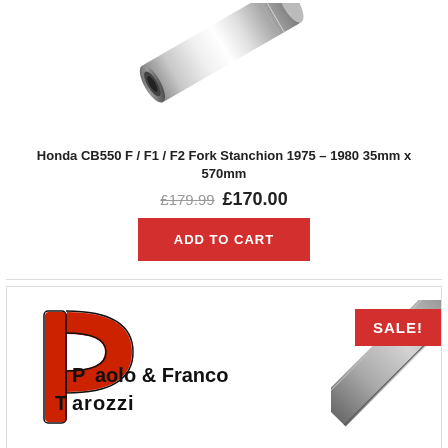[Figure (photo): Chrome fork stanchion tube, cylindrical, shown diagonally]
Honda CB550 F / F1 / F2 Fork Stanchion 1975 – 1980 35mm x 570mm
£179.99  £170.00
ADD TO CART
[Figure (logo): Paolo & Franco Parozzi brand logo with red stylized P symbol]
[Figure (photo): Chrome/steel fork stanchion tube shown diagonally, partially visible]
SALE!